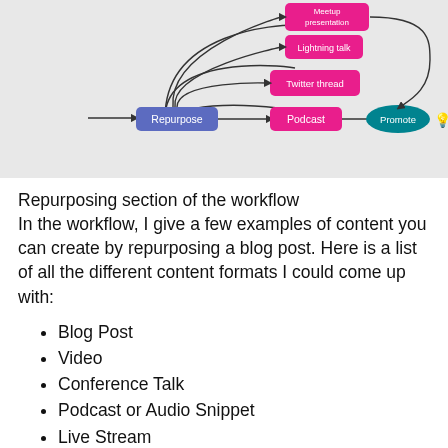[Figure (flowchart): Partial workflow diagram showing a 'Repurpose' blue box connecting to 'Twitter thread' (pink), 'Podcast' (pink), and flows going to 'Meetup presentation' (pink), 'Lightning talk' (pink), and 'Promote' (teal ellipse) with a lightbulb icon. Multiple curved arrows connect the nodes.]
Repurposing section of the workflow
In the workflow, I give a few examples of content you can create by repurposing a blog post. Here is a list of all the different content formats I could come up with:
Blog Post
Video
Conference Talk
Podcast or Audio Snippet
Live Stream
Twitter Thread